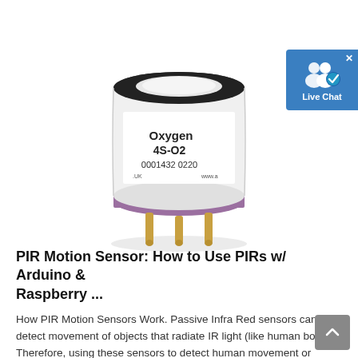[Figure (photo): Photograph of an Alphasense Oxygen 4S-O2 electrochemical gas sensor with serial number 0001432 0220, cylindrical white body with black top, purple base and gold pin contacts.]
[Figure (illustration): Live Chat button widget showing two person icons with a blue checkmark badge on a blue background, with an X close button in the top right corner.]
PIR Motion Sensor: How to Use PIRs w/ Arduino & Raspberry ...
How PIR Motion Sensors Work. Passive Infra Red sensors can detect movement of objects that radiate IR light (like human bodies). Therefore, using these sensors to detect human movement or occupancy in security systems is very common. Initial setup and calibration of these sensors takes about 10 to 60 seconds. The HC-